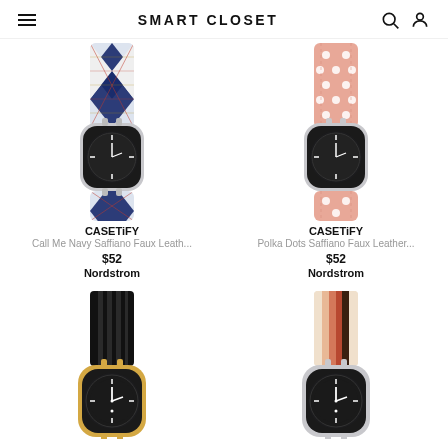SMART CLOSET
[Figure (illustration): CASETiFY Call Me Navy Saffiano Faux Leather Apple Watch band with argyle/plaid navy and white pattern]
CASETiFY
Call Me Navy Saffiano Faux Leath...
$52
Nordstrom
[Figure (illustration): CASETiFY Polka Dots Saffiano Faux Leather Apple Watch band in pink with white polka dots]
CASETiFY
Polka Dots Saffiano Faux Leather...
$52
Nordstrom
[Figure (illustration): Apple Watch with black and white vertical stripes band on gold case]
[Figure (illustration): Apple Watch with multicolor warm stripes band (cream, peach, orange, dark brown) on silver case]